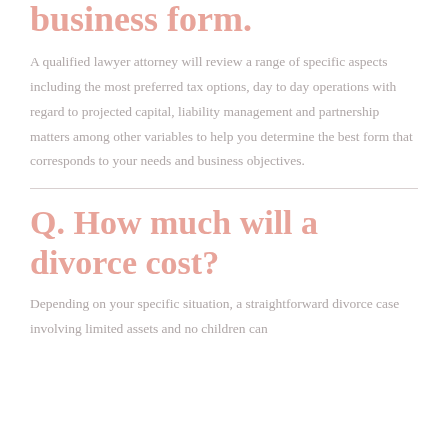business form.
A qualified lawyer attorney will review a range of specific aspects including the most preferred tax options, day to day operations with regard to projected capital, liability management and partnership matters among other variables to help you determine the best form that corresponds to your needs and business objectives.
Q. How much will a divorce cost?
Depending on your specific situation, a straightforward divorce case involving limited assets and no children can